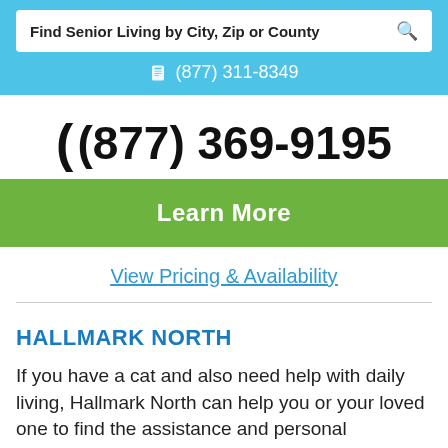Find Senior Living by City, Zip or County
(877) 311-8349
(877) 369-9195
Learn More
View Pricing & Availability
HALLMARK NORTH
If you have a cat and also need help with daily living, Hallmark North can help you or your loved one to find the assistance and personal